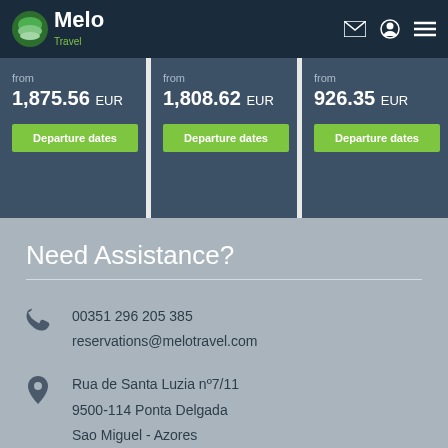Melo Travel
from 1,875.56 EUR
from 1,808.62 EUR
from 926.35 EUR
Departure dates
Departure dates
Departure dates
Need Assistance?
00351 296 205 385
reservations@melotravel.com
Rua de Santa Luzia nº7/11
9500-114 Ponta Delgada
Sao Miguel - Azores